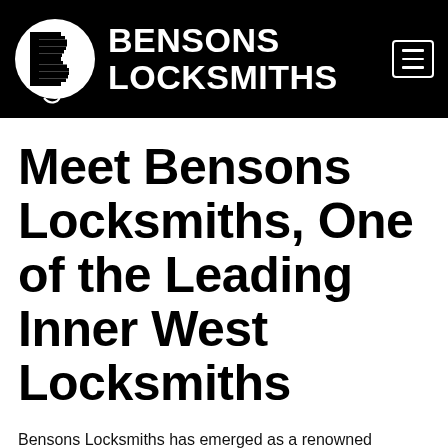[Figure (logo): Bensons Locksmiths logo: black header bar with circular B icon made of horizontal lines on the left and 'BENSONS LOCKSMITHS' text in white bold uppercase, plus a hamburger menu button on the right]
Meet Bensons Locksmiths, One of the Leading Inner West Locksmiths
Bensons Locksmiths has emerged as a renowned locksmith